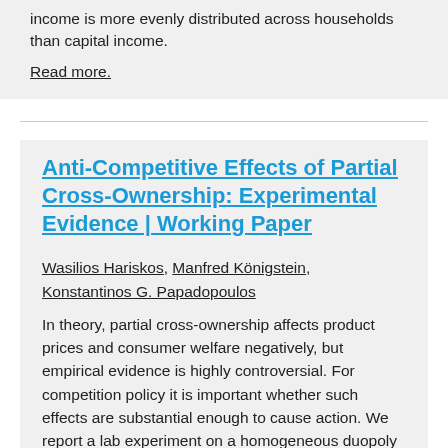income is more evenly distributed across households than capital income.
Read more.
Anti-Competitive Effects of Partial Cross-Ownership: Experimental Evidence | Working Paper
Wasilios Hariskos, Manfred Königstein, Konstantinos G. Papadopoulos
In theory, partial cross-ownership affects product prices and consumer welfare negatively, but empirical evidence is highly controversial. For competition policy it is important whether such effects are substantial enough to cause action. We report a lab experiment on a homogeneous duopoly